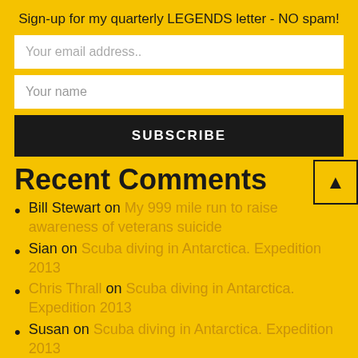Sign-up for my quarterly LEGENDS letter - NO spam!
Your email address..
Your name
SUBSCRIBE
Recent Comments
Bill Stewart on My 999 mile run to raise awareness of veterans suicide
Sian on Scuba diving in Antarctica. Expedition 2013
Chris Thrall on Scuba diving in Antarctica. Expedition 2013
Susan on Scuba diving in Antarctica. Expedition 2013
Chris Thrall on Scuba diving in Antarctica